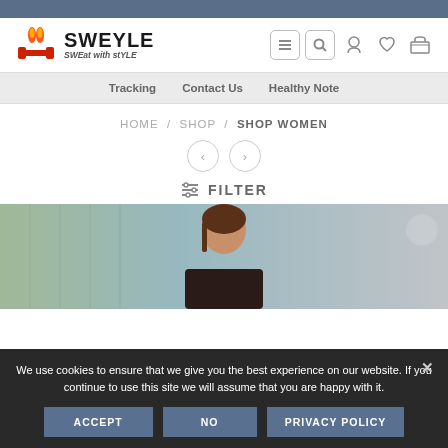[Figure (screenshot): Sweyle e-commerce website screenshot showing logo, navigation, breadcrumb navigation HOME / SHOP / SHOP WOMEN, pagination arrows, filter bar, product image of a woman, and cookie consent banner]
SWEYLE — SWEat with stYLE
Tracking   Contact Us   Healthy Note
HOME / SHOP / SHOP WOMEN
≡ FILTER
We use cookies to ensure that we give you the best experience on our website. If you continue to use this site we will assume that you are happy with it.
ACCEPT   NO   PRIVACY POLICY